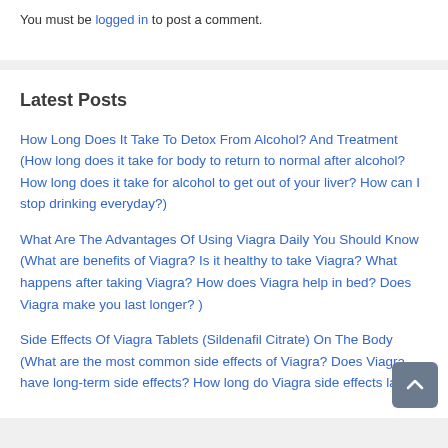You must be logged in to post a comment.
Latest Posts
How Long Does It Take To Detox From Alcohol? And Treatment (How long does it take for body to return to normal after alcohol? How long does it take for alcohol to get out of your liver? How can I stop drinking everyday?)
What Are The Advantages Of Using Viagra Daily You Should Know (What are benefits of Viagra? Is it healthy to take Viagra? What happens after taking Viagra? How does Viagra help in bed? Does Viagra make you last longer? )
Side Effects Of Viagra Tablets (Sildenafil Citrate) On The Body (What are the most common side effects of Viagra? Does Viagra have long-term side effects? How long do Viagra side effects last?